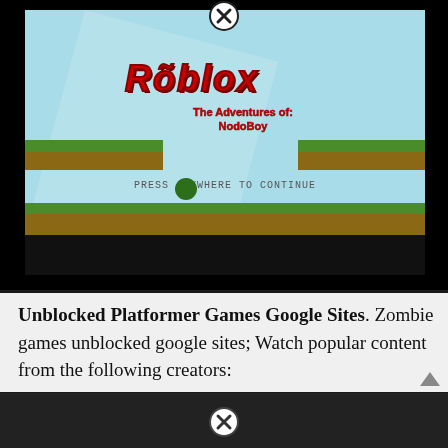[Figure (screenshot): Screenshot of a Roblox-style platformer game called 'Roblox: The Adventures of: NodoBoy' showing a light blue sky background, grass platforms, a small green character, and the text 'PRESS ANYWHERE TO CONTINUE'. A black close button (X) appears at the top of the popup.]
Unblocked Platformer Games Google Sites. Zombie games unblocked google sites; Watch popular content from the following creators: